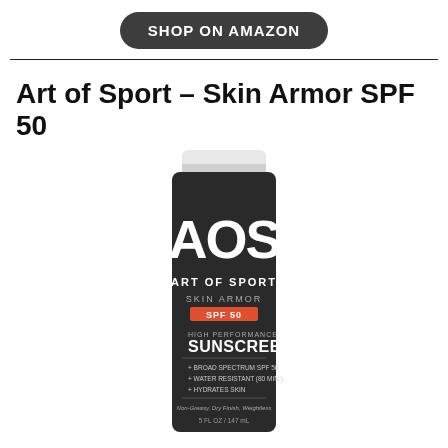[Figure (other): SHOP ON AMAZON button — dark rounded pill-shaped button with white text]
Art of Sport – Skin Armor SPF 50
[Figure (photo): Product photo of Art of Sport Skin Armor SPF 50 sunscreen tube. Dark tube with white cap. Large 'AOS' logo, 'ART OF SPORT' text, 'SKIN ARMOR' text, orange 'SPF 50' badge, 'HIGH PERFORMANCE SUNSCREEN', bullet points: BROAD SPECTRUM SPF 50, WATER RESISTANT (80 MIN.), HYDRATES SKIN, 'Non-Greasy, Dry Finish, Weightless', '5 FL OZ / 147 mL']